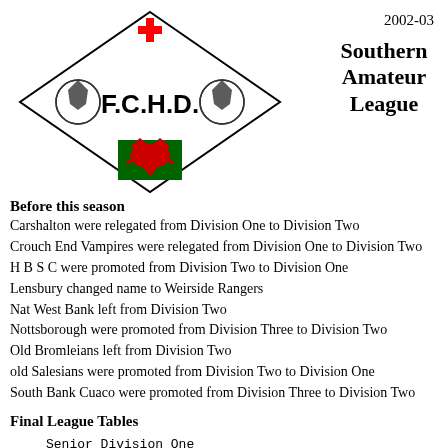[Figure (logo): F.C.H.D. club logo: diamond shape with red cross, two soccer balls, bold text F.C.H.D., and Welsh dragon on green flag]
2002-03
Southern Amateur League
Before this season
Carshalton were relegated from Division One to Division Two
Crouch End Vampires were relegated from Division One to Division Two
H B S C were promoted from Division Two to Division One
Lensbury changed name to Weirside Rangers
Nat West Bank left from Division Two
Nottsborough were promoted from Division Three to Division Two
Old Bromleians left from Division Two
old Salesians were promoted from Division Two to Division One
South Bank Cuaco were promoted from Division Three to Division Two
Final League Tables
| Pos | Name | Pld | W | D | L |
| --- | --- | --- | --- | --- | --- |
| Senior Division One |  |  |  |  |  |